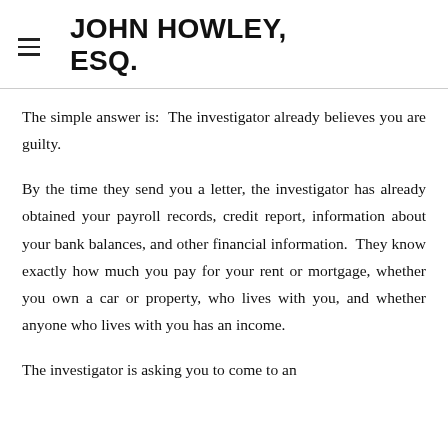JOHN HOWLEY, ESQ.
The simple answer is:  The investigator already believes you are guilty.
By the time they send you a letter, the investigator has already obtained your payroll records, credit report, information about your bank balances, and other financial information.  They know exactly how much you pay for your rent or mortgage, whether you own a car or property, who lives with you, and whether anyone who lives with you has an income.
The investigator is asking you to come to an